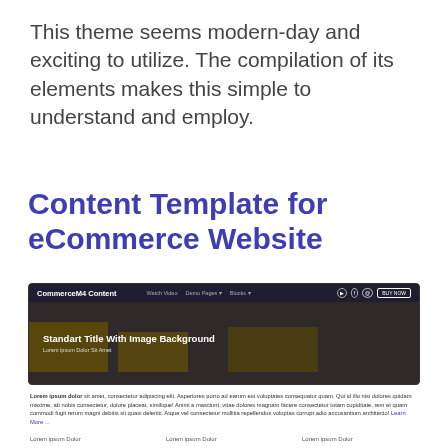This theme seems modern-day and exciting to utilize. The compilation of its elements makes this simple to understand and employ.
Live Demo
Content Template for eCommerce Website
[Figure (screenshot): Screenshot of CommerceM4 Content website template showing navigation bar with brand name, nav links (Watch Video, Demo Pages, Blocks), social icons, BUY NOW button, and a hero section with dark overlay reading 'Standart Title With Image Background' with subtitle 'Lorem ipsum Dolor Sit Amet' over a city taxi background image.]
Lorem ipsum dolor sit amet, consectetur adipiscing elit. Asperiores porro ad earum est voluptates consequatur quam. Qui id illo nisi dolores quidam maxime, ab nobis consectetur, dolore placeat, similique! Animi a asciunt, vitae dolores magnam facere consectetur totam cupiditate, rem et quam commodi fugit rerum magni debitis sit quasi deleniti. Atque vel consectetur mollitia repellendus voluptas corrupt adio accusantium architecto! Learn More ...
Lorem ipsum Dolor
Lorem ipsum Dolor
Lorem ipsum Dolor